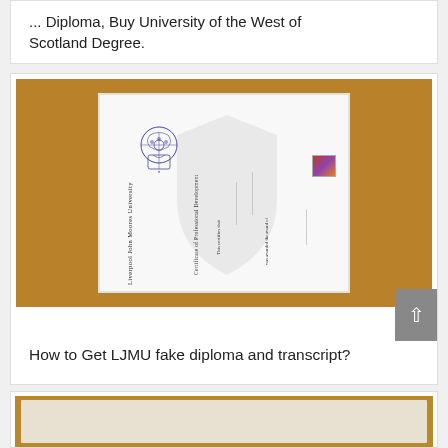... Diploma, Buy University of the West of Scotland Degree.
[Figure (photo): Photo of a Liverpool John Moores University (LJMU) Certificate of Professional Development diploma, displayed on a wooden surface. The certificate shows the LJMU crest, university name text rotated vertically, certificate text in the center, and a small photo/stamp in the upper right corner.]
How to Get LJMU fake diploma and transcript?
[Figure (photo): Partial photo of another framed diploma/certificate, partially visible at the bottom of the page.]